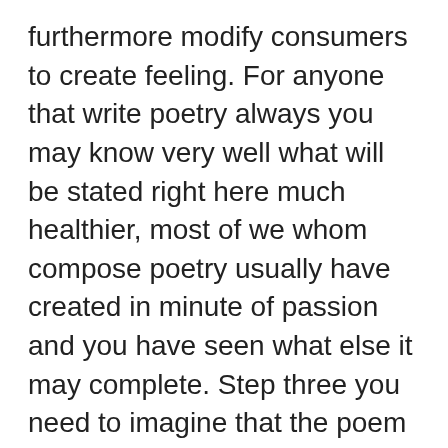furthermore modify consumers to create feeling. For anyone that write poetry always you may know very well what will be stated right here much healthier, most of we whom compose poetry usually have created in minute of passion and you have seen what else it may complete. Step three you need to imagine that the poem try authored since a letter inside anyone.Maybe if you should be writing about excellent emotion you are feeling among a girlfriend or boyfriend you should pretend that you will be writing compared to that person, the best love note per se. If you want assist in your composing there is certainly a good resource here in each Abilene Texas area that is start for all to join. The spot is called that Abilene experts Guild, monthly regarding 4th Thursday of this thirty days that they satisfy and also have workshops where you can